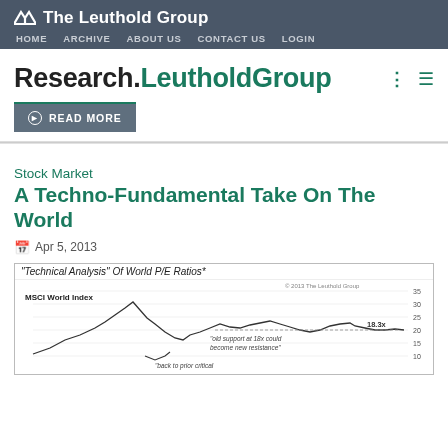The Leuthold Group — HOME  ARCHIVE  ABOUT US  CONTACT US  LOGIN
Research.LeutholdGroup
READ MORE
Stock Market
A Techno-Fundamental Take On The World
Apr 5, 2013
[Figure (continuous-plot): Line chart titled '"Technical Analysis" Of World P/E Ratios*' showing MSCI World Index P/E ratio over time, with current level annotated at 18.3x, note 'old support at 18x could become new resistance', and 'back to prior critical' annotation at bottom. Y-axis ranges from approximately 5 to 35.]